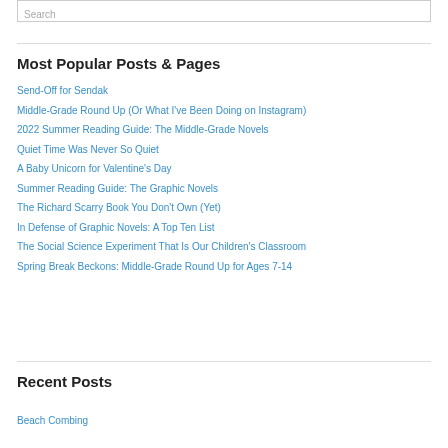Search
Most Popular Posts & Pages
Send-Off for Sendak
Middle-Grade Round Up (Or What I've Been Doing on Instagram)
2022 Summer Reading Guide: The Middle-Grade Novels
Quiet Time Was Never So Quiet
A Baby Unicorn for Valentine's Day
Summer Reading Guide: The Graphic Novels
The Richard Scarry Book You Don't Own (Yet)
In Defense of Graphic Novels: A Top Ten List
The Social Science Experiment That Is Our Children's Classroom
Spring Break Beckons: Middle-Grade Round Up for Ages 7-14
Recent Posts
Beach Combing